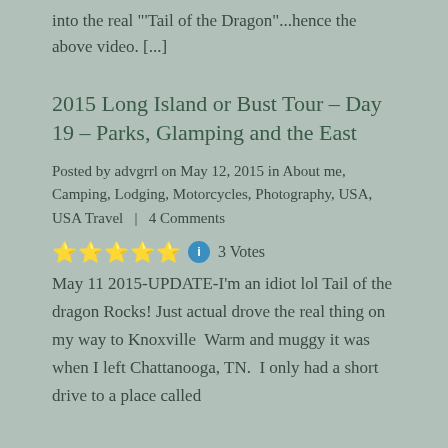into the real "Tail of the Dragon"...hence the above video.  [...]
2015 Long Island or Bust Tour – Day 19 – Parks, Glamping and the East
Posted by advgrrl on May 12, 2015 in About me, Camping, Lodging, Motorcycles, Photography, USA, USA Travel  |  4 Comments
⭐⭐⭐⭐⭐ ℹ 3 Votes
May 11 2015-UPDATE-I'm an idiot lol Tail of the dragon Rocks! Just actual drove the real thing on my way to Knoxville  Warm and muggy it was when I left Chattanooga, TN.  I only had a short drive to a place called